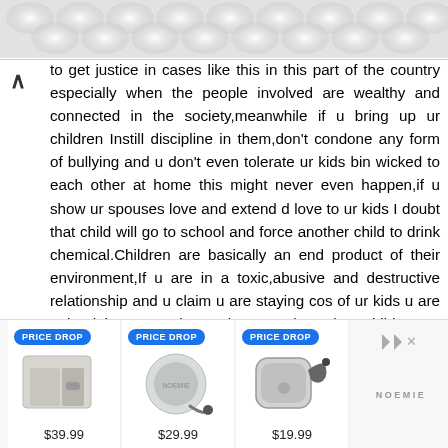[Figure (other): Decorative hexagonal/bubble pattern background at top of page]
to get justice in cases like this in this part of the country especially when the people involved are wealthy and connected in the society,meanwhile if u bring up ur children Instill discipline in them,don't condone any form of bullying and u don't even tolerate ur kids bin wicked to each other at home this might never even happen,if u show ur spouses love and extend d love to ur kids I doubt that child will go to school and force another child to drink chemical.Children are basically an end product of their environment,If u are in a toxic,abusive and destructive relationship and u claim u are staying cos of ur kids u are only doing more harm than good to that child,u are scarring them for life most of them usually grow to be
[Figure (other): Advertisement banner showing three products with PRICE DROP badges: a wallet at $39.99, a round case at $29.99, and an earbud case at $19.99, branded NOEMIE]